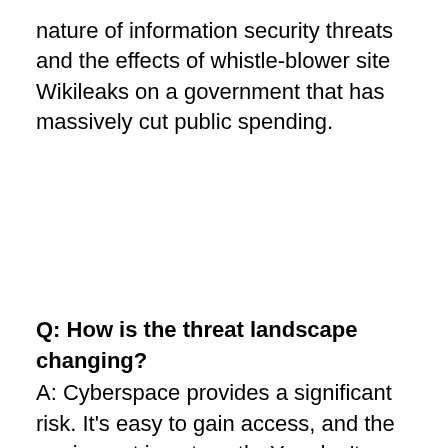nature of information security threats and the effects of whistle-blower site Wikileaks on a government that has massively cut public spending.
Q: How is the threat landscape changing?
A: Cyberspace provides a significant risk. It's easy to gain access, and the equipment is not costly. You don't need large aerials, just a laptop and an ADSL line.